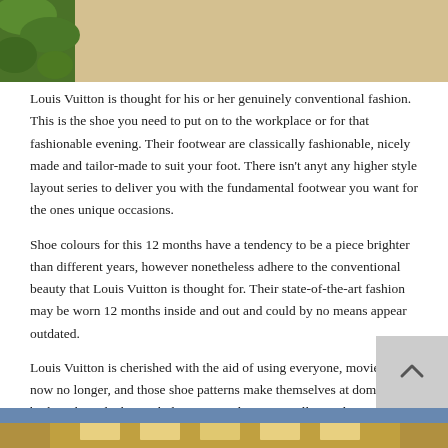[Figure (photo): Top portion of an outdoor photo showing green leaves on the left and a beige/sandy surface with shadows]
Louis Vuitton is thought for his or her genuinely conventional fashion. This is the shoe you need to put on to the workplace or for that fashionable evening. Their footwear are classically fashionable, nicely made and tailor-made to suit your foot. There isn't anyt any higher style layout series to deliver you with the fundamental footwear you want for the ones unique occasions.
Shoe colours for this 12 months have a tendency to be a piece brighter than different years, however nonetheless adhere to the conventional beauty that Louis Vuitton is thought for. Their state-of-the-art fashion may be worn 12 months inside and out and could by no means appear outdated.
Louis Vuitton is cherished with the aid of using everyone, movie star or now no longer, and those shoe patterns make themselves at domestic both withinside the workplace, on a ride, or on Hollywood’s crimson carpet.
[Figure (photo): Bottom portion of an outdoor photo showing blue sky and a golden/brown architectural structure]